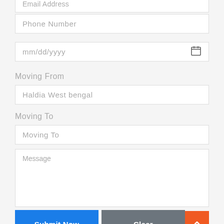Email Address
Phone Number
mm/dd/yyyy
Moving From
Haldia West bengal
Moving To
Moving To
Message
Submit Now
Clear